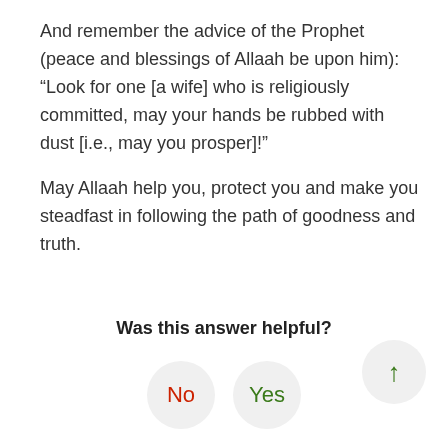And remember the advice of the Prophet (peace and blessings of Allaah be upon him): “Look for one [a wife] who is religiously committed, may your hands be rubbed with dust [i.e., may you prosper]!”
May Allaah help you, protect you and make you steadfast in following the path of goodness and truth.
Was this answer helpful?
No
Yes